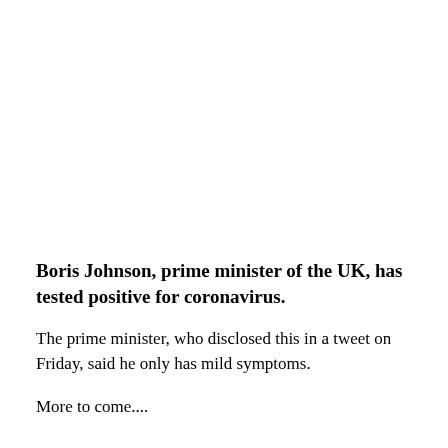Boris Johnson, prime minister of the UK, has tested positive for coronavirus.
The prime minister, who disclosed this in a tweet on Friday, said he only has mild symptoms.
More to come....